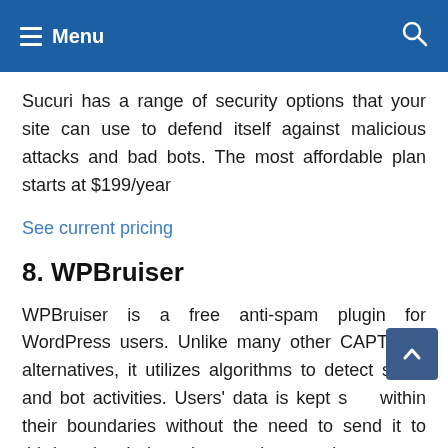Menu
Sucuri has a range of security options that your site can use to defend itself against malicious attacks and bad bots. The most affordable plan starts at $199/year
See current pricing
8. WPBruiser
WPBruiser is a free anti-spam plugin for WordPress users. Unlike many other CAPTCHA alternatives, it utilizes algorithms to detect spam and bot activities. Users' data is kept s… within their boundaries without the need to send it to third parties. It does deep analyses and